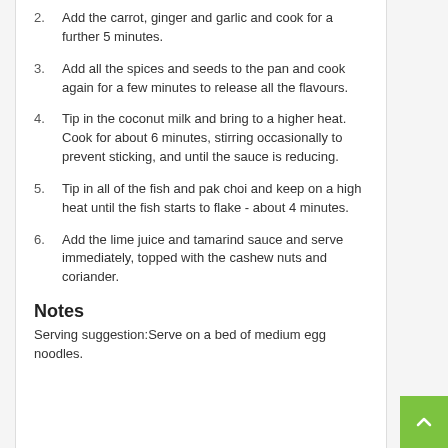2. Add the carrot, ginger and garlic and cook for a further 5 minutes.
3. Add all the spices and seeds to the pan and cook again for a few minutes to release all the flavours.
4. Tip in the coconut milk and bring to a higher heat. Cook for about 6 minutes, stirring occasionally to prevent sticking, and until the sauce is reducing.
5. Tip in all of the fish and pak choi and keep on a high heat until the fish starts to flake - about 4 minutes.
6. Add the lime juice and tamarind sauce and serve immediately, topped with the cashew nuts and coriander.
Notes
Serving suggestion:Serve on a bed of medium egg noodles.